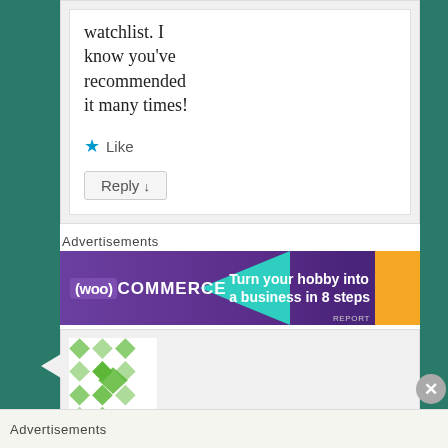watchlist. I know you've recommended it many times!
★ Like
Reply ↓
Advertisements
[Figure (screenshot): WooCommerce banner advertisement: 'Turn your hobby into a business in 8 steps' on purple background with teal triangle and orange accent]
[Figure (illustration): Green decorative geometric/cross pattern avatar placeholder on light gray background]
Advertisements